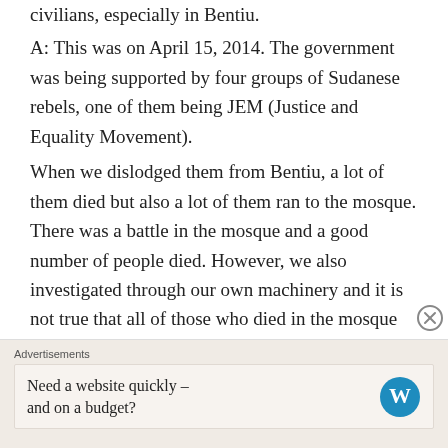civilians, especially in Bentiu.
A: This was on April 15, 2014. The government was being supported by four groups of Sudanese rebels, one of them being JEM (Justice and Equality Movement).
When we dislodged them from Bentiu, a lot of them died but also a lot of them ran to the mosque. There was a battle in the mosque and a good number of people died. However, we also investigated through our own machinery and it is not true that all of those who died in the mosque were civilians. The majority of them were armed
Advertisements
Need a website quickly – and on a budget?